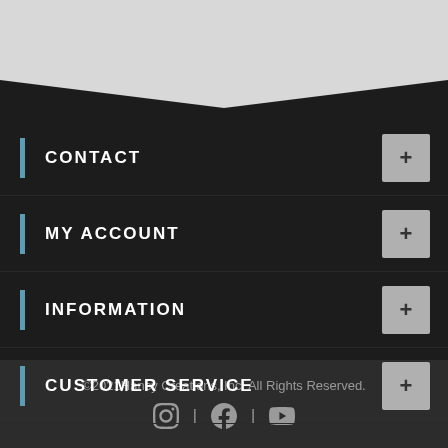[Figure (illustration): Dark chevron/V-shape decorative graphic dividing a light grey top area from dark background]
CONTACT
MY ACCOUNT
INFORMATION
CUSTOMER SERVICE
©2021Hancy Creations, Inc. All Rights Reserved.